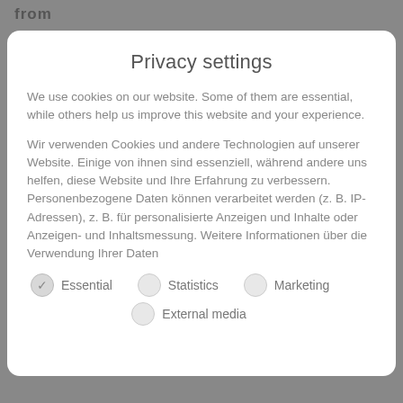from
Privacy settings
We use cookies on our website. Some of them are essential, while others help us improve this website and your experience.
Wir verwenden Cookies und andere Technologien auf unserer Website. Einige von ihnen sind essenziell, während andere uns helfen, diese Website und Ihre Erfahrung zu verbessern. Personenbezogene Daten können verarbeitet werden (z. B. IP-Adressen), z. B. für personalisierte Anzeigen und Inhalte oder Anzeigen- und Inhaltsmessung. Weitere Informationen über die Verwendung Ihrer Daten
Essential (checked)
Statistics
Marketing
External media